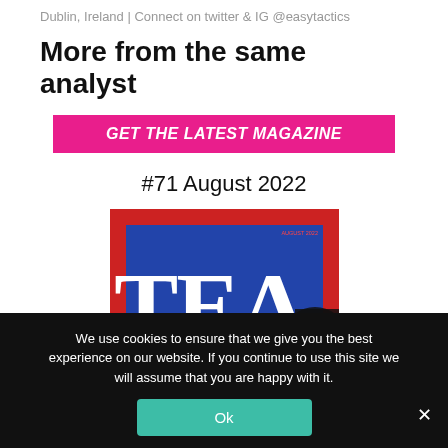Dublin, Ireland | Connect on twitter & IG @easytactics
More from the same analyst
GET THE LATEST MAGAZINE
#71 August 2022
[Figure (photo): Magazine cover showing large white letters TEA on a blue background with red border, partially visible]
We use cookies to ensure that we give you the best experience on our website. If you continue to use this site we will assume that you are happy with it.